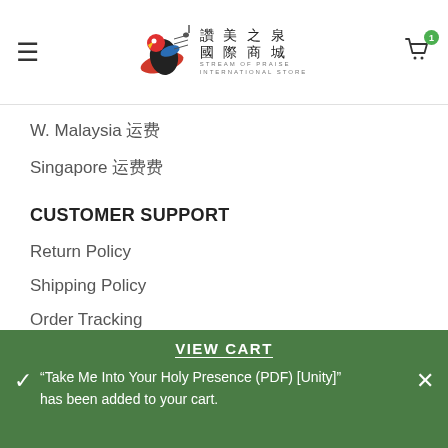[Figure (logo): Stream of Praise International Store logo with Chinese characters 讚美之泉國際商城 and stylized bird/music note graphic]
W. Malaysia 运费
Singapore 运费
CUSTOMER SUPPORT
Return Policy
Shipping Policy
Order Tracking
Contact Us
VIEW CART
"Take Me Into Your Holy Presence (PDF) [Unity]" has been added to your cart.